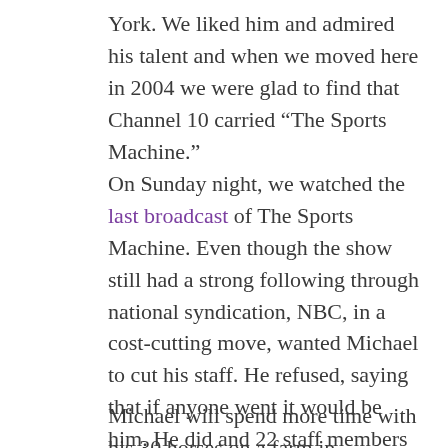York. We liked him and admired his talent and when we moved here in 2004 we were glad to find that Channel 10 carried “The Sports Machine.”
On Sunday night, we watched the last broadcast of The Sports Machine. Even though the show still had a strong following through national syndication, NBC, in a cost-cutting move, wanted Michael to cut his staff. He refused, saying that if anyone went it would be him. He did and 22 staff members lost their jobs as well.
Michael will spend more time with his 30 horses on a farm in Maryland but he’s not